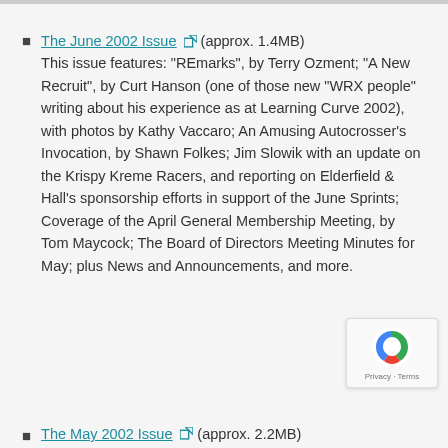The June 2002 Issue (approx. 1.4MB) This issue features: "REmarks", by Terry Ozment; "A New Recruit", by Curt Hanson (one of those new "WRX people" writing about his experience as at Learning Curve 2002), with photos by Kathy Vaccaro; An Amusing Autocrosser's Invocation, by Shawn Folkes; Jim Slowik with an update on the Krispy Kreme Racers, and reporting on Elderfield & Hall's sponsorship efforts in support of the June Sprints; Coverage of the April General Membership Meeting, by Tom Maycock; The Board of Directors Meeting Minutes for May; plus News and Announcements, and more.
The May 2002 Issue (approx. 2.2MB)